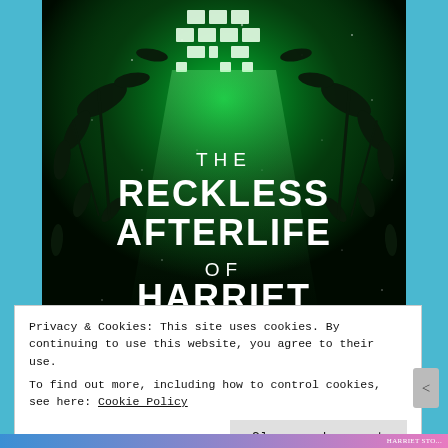[Figure (illustration): Book cover of 'The Reckless Afterlife of Harriet Stoker' — dark green glowing building facade with sparkle/dust effect, dark leaf branches in corners, large white sans-serif title text]
Privacy & Cookies: This site uses cookies. By continuing to use this website, you agree to their use.
To find out more, including how to control cookies, see here: Cookie Policy
Close and accept